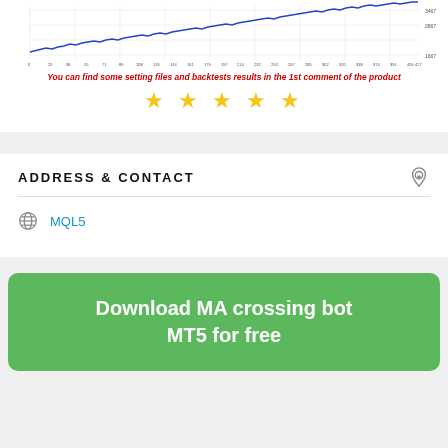[Figure (continuous-plot): Line chart showing an upward trending equity/balance curve, blue line on white background with grid lines and axis tick labels]
You can find some setting files and backtests results in the 1st comment of the product
★★★★★
ADDRESS & CONTACT
MQL5
Download MA crossing bot MT5 for free